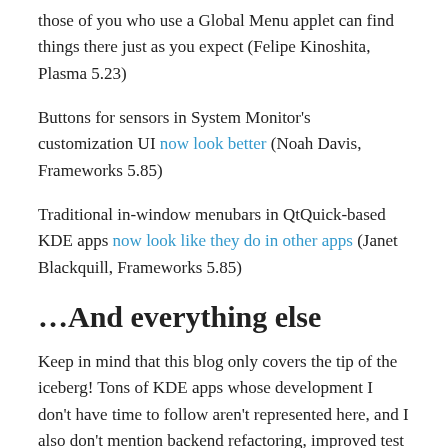those of you who use a Global Menu applet can find things there just as you expect (Felipe Kinoshita, Plasma 5.23)
Buttons for sensors in System Monitor's customization UI now look better (Noah Davis, Frameworks 5.85)
Traditional in-window menubars in QtQuick-based KDE apps now look like they do in other apps (Janet Blackquill, Frameworks 5.85)
…And everything else
Keep in mind that this blog only covers the tip of the iceberg! Tons of KDE apps whose development I don't have time to follow aren't represented here, and I also don't mention backend refactoring, improved test